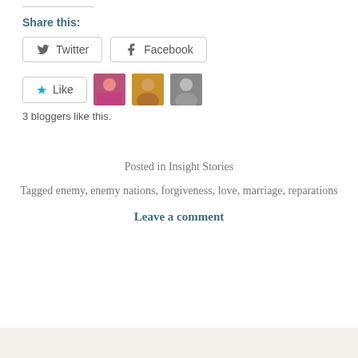Share this:
Twitter  Facebook
[Figure (other): Like button with star icon and three blogger avatar thumbnails]
3 bloggers like this.
Posted in Insight Stories
Tagged enemy, enemy nations, forgiveness, love, marriage, reparations
Leave a comment